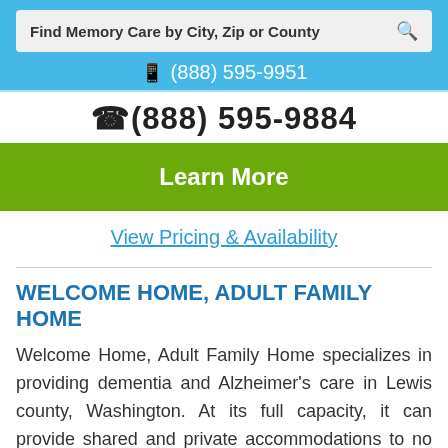[Figure (screenshot): Search bar with text 'Find Memory Care by City, Zip or County' and a search icon on a light gray background]
📱 (888) 595-9951
((888) 595-9884
Learn More
View Pricing & Availability
WELCOME HOME, ADULT FAMILY HOME
Welcome Home, Adult Family Home specializes in providing dementia and Alzheimer's care in Lewis county, Washington. At its full capacity, it can provide shared and private accommodations to no more than 6 older adults. Welcome Home, Adult